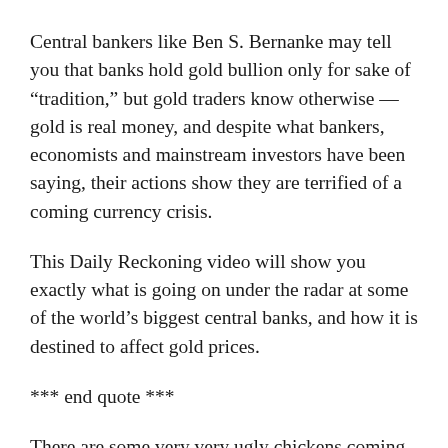Central bankers like Ben S. Bernanke may tell you that banks hold gold bullion only for sake of “tradition,” but gold traders know otherwise — gold is real money, and despite what bankers, economists and mainstream investors have been saying, their actions show they are terrified of a coming currency crisis.
This Daily Reckoning video will show you exactly what is going on under the radar at some of the world’s biggest central banks, and how it is destined to affect gold prices.
*** end quote ***
There are some very very ugly chickens coming home to roost.